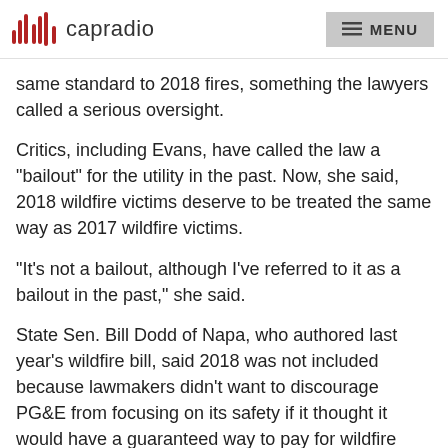capradio  MENU
same standard to 2018 fires, something the lawyers called a serious oversight.
Critics, including Evans, have called the law a "bailout" for the utility in the past. Now, she said, 2018 wildfire victims deserve to be treated the same way as 2017 wildfire victims.
"It's not a bailout, although I've referred to it as a bailout in the past," she said.
State Sen. Bill Dodd of Napa, who authored last year's wildfire bill, said 2018 was not included because lawmakers didn't want to discourage PG&E from focusing on its safety if it thought it would have a guaranteed way to pay for wildfire damage.